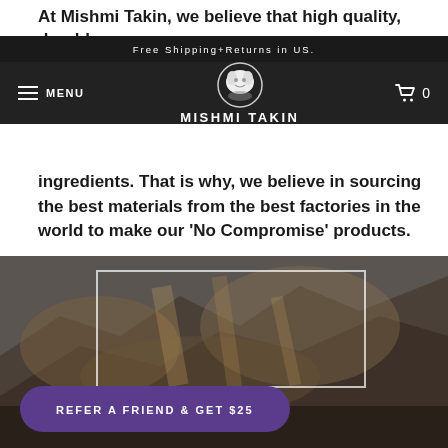At Mishmi Takin, we believe that high quality, durable
Free Shipping+Returns in US. | MENU | MISHMI TAKIN | 0
ingredients. That is why, we believe in sourcing the best materials from the best factories in the world to make our ‘No Compromise’ products.
[Figure (screenshot): Mountain rock face background image with a white rectangle outline overlay and a purple 'REFER A FRIEND & GET $25' call-to-action button]